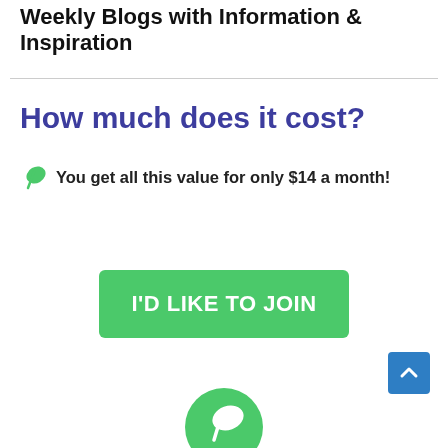Weekly Blogs with Information & Inspiration
How much does it cost?
You get all this value for only $14 a month!
[Figure (other): Green 'I'D LIKE TO JOIN' call-to-action button]
[Figure (other): Blue scroll-to-top button with upward chevron arrow]
[Figure (other): Green circle icon with white leaf/seedling icon, partially visible at bottom]